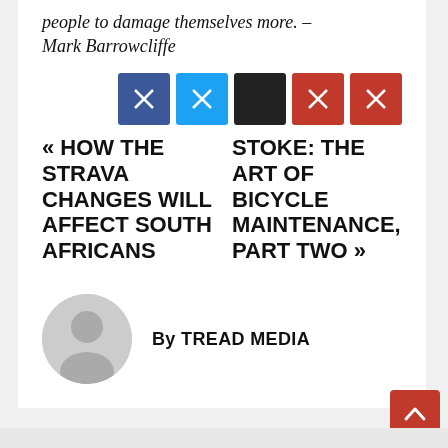people to damage themselves more. – Mark Barrowcliffe
[Figure (infographic): Five social sharing icon buttons: Facebook (dark blue), Twitter (light blue), Black square, Pinterest (red), Email (red)]
« HOW THE STRAVA CHANGES WILL AFFECT SOUTH AFRICANS
STOKE: THE ART OF BICYCLE MAINTENANCE, PART TWO »
By TREAD MEDIA
[Figure (illustration): Generic user avatar circle with person silhouette, grey background]